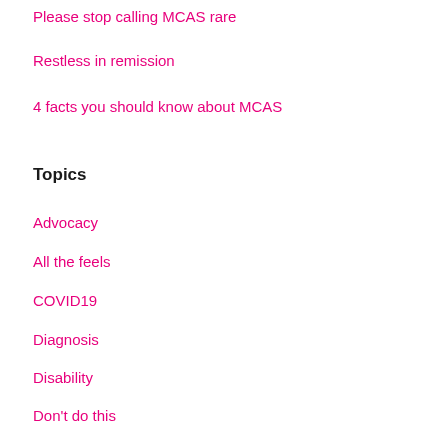Please stop calling MCAS rare
Restless in remission
4 facts you should know about MCAS
Topics
Advocacy
All the feels
COVID19
Diagnosis
Disability
Don't do this
Dysautonomia
EDS and hypermobility
Exerc…